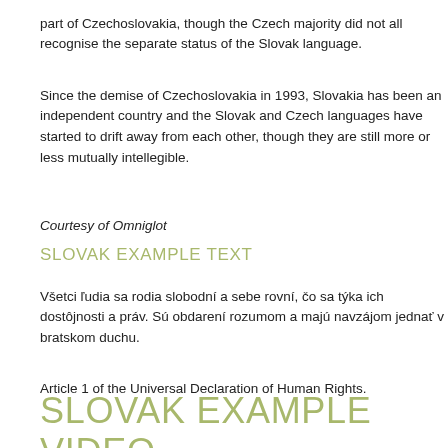part of Czechoslovakia, though the Czech majority did not all recognise the separate status of the Slovak language.
Since the demise of Czechoslovakia in 1993, Slovakia has been an independent country and the Slovak and Czech languages have started to drift away from each other, though they are still more or less mutually intellegible.
Courtesy of Omniglot
SLOVAK EXAMPLE TEXT
Všetci ľudia sa rodia slobodní a sebe rovní, čo sa týka ich dostôjnosti a práv. Sú obdarení rozumom a majú navzájom jednať v bratskom duchu.
Article 1 of the Universal Declaration of Human Rights.
SLOVAK EXAMPLE VIDEO